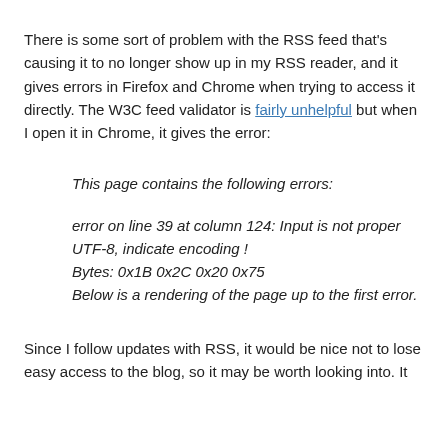There is some sort of problem with the RSS feed that's causing it to no longer show up in my RSS reader, and it gives errors in Firefox and Chrome when trying to access it directly. The W3C feed validator is fairly unhelpful but when I open it in Chrome, it gives the error:
This page contains the following errors:
error on line 39 at column 124: Input is not proper UTF-8, indicate encoding !
Bytes: 0x1B 0x2C 0x20 0x75
Below is a rendering of the page up to the first error.
Since I follow updates with RSS, it would be nice not to lose easy access to the blog, so it may be worth looking into. It